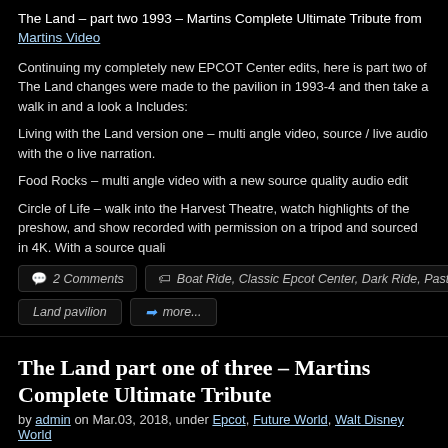The Land – part two 1993 – Martins Complete Ultimate Tribute from Martins Video
Continuing my completely new EPCOT Center edits, here is part two of The Land changes were made to the pavilion in 1993-4 and then take a walk in and a look a Includes:
Living with the Land version one – multi angle video, source / live audio with the o live narration.
Food Rocks – multi angle video with a new source quality audio edit
Circle of Life – walk into the Harvest Theatre, watch highlights of the preshow, and show recorded with permission on a tripod and sourced in 4K. With a source quali
2 Comments
Boat Ride, Classic Epcot Center, Dark Ride, Past (Ex
Land pavilion
more...
The Land part one of three – Martins Complete Ultimate Tribute
by admin on Mar.03, 2018, under Epcot, Future World, Walt Disney World
[Figure (screenshot): Verify to continue banner section with dark navy background]